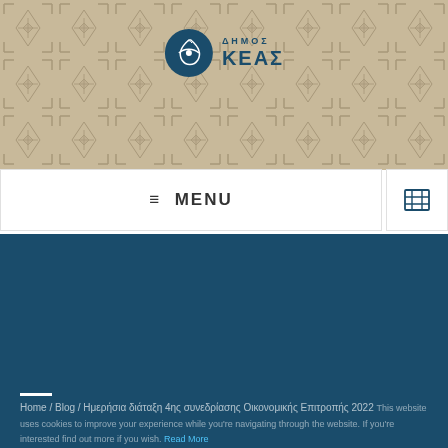[Figure (logo): Δήμος Κέας circular logo with stylized leaf/eye symbol in dark teal, with text ΔΗΜΟΣ ΚΕΑΣ]
≡  MENU
Ημερήσια διάταξη 4ης συνεδρίασης Οικονομικής Επιτροπής 2022
Home / Blog / Ημερήσια διάταξη 4ης συνεδρίασης Οικονομικής Επιτροπής 2022
Accept
Για να δείτε την ημερήσια διάταξη της 4ης συνεδρίασης Οικονομικής Επιτροπής 2022,